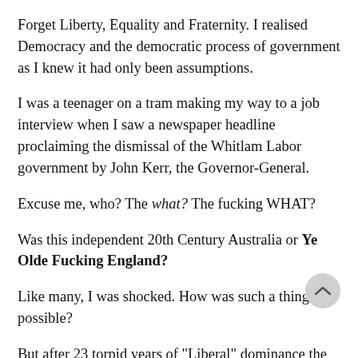Forget Liberty, Equality and Fraternity. I realised Democracy and the democratic process of government as I knew it had only been assumptions.
I was a teenager on a tram making my way to a job interview when I saw a newspaper headline proclaiming the dismissal of the Whitlam Labor government by John Kerr, the Governor-General.
Excuse me, who? The what? The fucking WHAT?
Was this independent 20th Century Australia or Ye Olde Fucking England?
Like many, I was shocked. How was such a thing possible?
But after 23 torpid years of "Liberal" dominance the born-to-rule spivs couldn't believe they had been banished to